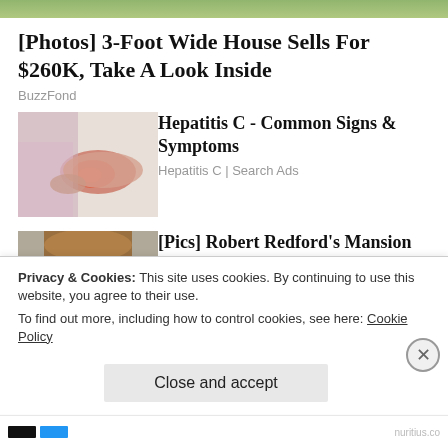[Figure (photo): Top strip image with green outdoor background]
[Photos] 3-Foot Wide House Sells For $260K, Take A Look Inside
BuzzFond
[Figure (photo): Person holding their arm in pain, redness visible on forearm]
Hepatitis C - Common Signs & Symptoms
Hepatitis C | Search Ads
[Figure (photo): Older man with reddish-brown hair, close-up face photo of Robert Redford]
[Pics] Robert Redford's Mansion Cost $7 Million, And This Is What It Looks Like
Privacy & Cookies: This site uses cookies. By continuing to use this website, you agree to their use.
To find out more, including how to control cookies, see here: Cookie Policy
Close and accept